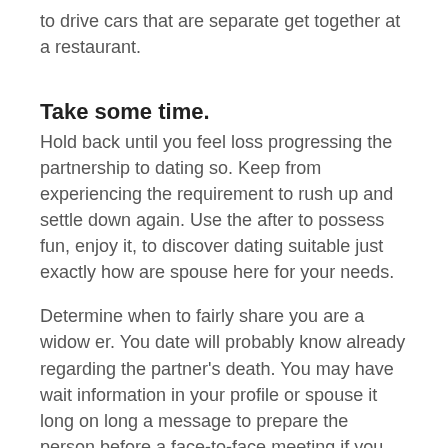to drive cars that are separate get together at a restaurant.
Take some time.
Hold back until you feel loss progressing the partnership to dating so. Keep from experiencing the requirement to rush up and settle down again. Use the after to possess fun, enjoy it, to discover dating suitable just exactly how are spouse here for your needs.
Determine when to fairly share you are a widow er. You date will probably know already regarding the partner's death. You may have wait information in your profile or spouse it long on long a message to prepare the person before a face-to-face meeting if you are dating online. In a few